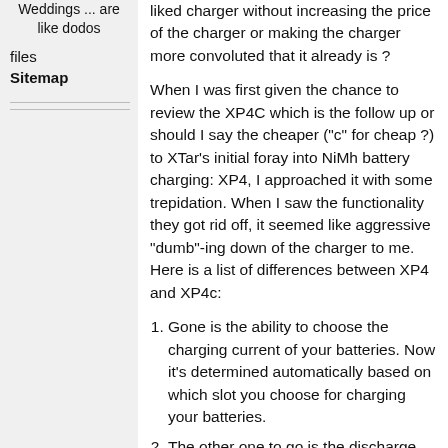Weddings ... are like dodos
files
Sitemap
liked charger without increasing the price of the charger or making the charger more convoluted that it already is ?
When I was first given the chance to review the XP4C which is the follow up or should I say the cheaper ("c" for cheap ?) to XTar's initial foray into NiMh battery charging: XP4, I approached it with some trepidation. When I saw the functionality they got rid off, it seemed like aggressive "dumb"-ing down of the charger to me. Here is a list of differences between XP4 and XP4c:
Gone is the ability to choose the charging current of your batteries. Now it's determined automatically based on which slot you choose for charging your batteries.
The other one to go is the discharge via usb function